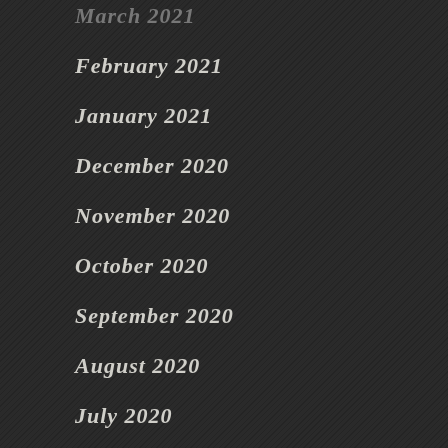February 2021
January 2021
December 2020
November 2020
October 2020
September 2020
August 2020
July 2020
June 2020
May 2020
April 2020
March 2020
February 2020
traditions such as s... images. najeebah e... exhibitions. She mo... the Hyde Park Art ... Black Image Maker...
Co-presented with ... Series, Alice Kaplan... at Northwestern. C... Interdisciplinary G... Associate), and Mal...
Official Website
More events on th...
Tags: Block Musee... University, Paige...